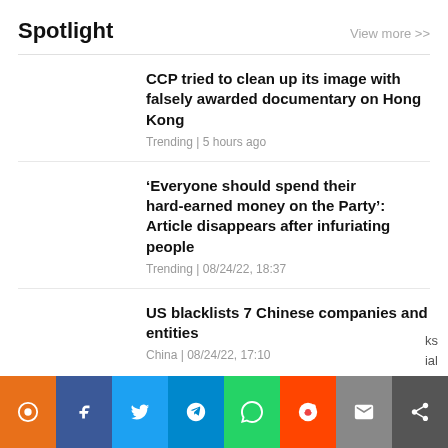Spotlight
View more >>
CCP tried to clean up its image with falsely awarded documentary on Hong Kong
Trending | 5 hours ago
‘Everyone should spend their hard-earned money on the Party’: Article disappears after infuriating people
Trending | 08/24/22, 18:37
US blacklists 7 Chinese companies and entities
China | 08/24/22, 17:10